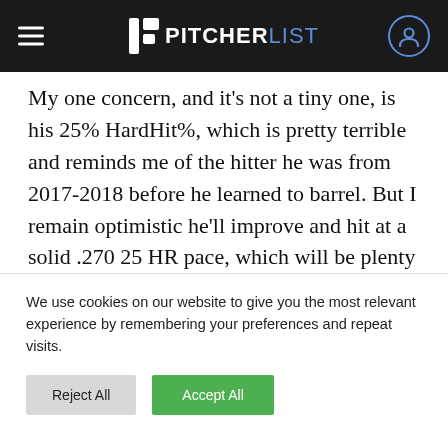PITCHER LIST
My one concern, and it's not a tiny one, is his 25% HardHit%, which is pretty terrible and reminds me of the hitter he was from 2017-2018 before he learned to barrel. But I remain optimistic he'll improve and hit at a solid .270 25 HR pace, which will be plenty useful, especially in OBP leagues where he currently has a 21% Walk rate. Scoop up in any 12-team formats in which he was dropped, especially OBP formats
We use cookies on our website to give you the most relevant experience by remembering your preferences and repeat visits.